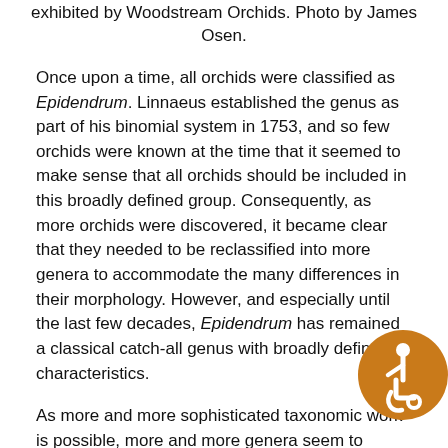exhibited by Woodstream Orchids. Photo by James Osen.
Once upon a time, all orchids were classified as Epidendrum. Linnaeus established the genus as part of his binomial system in 1753, and so few orchids were known at the time that it seemed to make sense that all orchids should be included in this broadly defined group. Consequently, as more orchids were discovered, it became clear that they needed to be reclassified into more genera to accommodate the many differences in their morphology. However, and especially until the last few decades, Epidendrum has remained a classical catch-all genus with broadly defined characteristics.
As more and more sophisticated taxonomic work is possible, more and more genera seem to emerge from what were once familiarly known as Epidendrum. Prosthechea, Barkeria, Encyclia, and Psychilis are a few of the better known of the more modern interpretations of this widespread New World group.
Today, what are most properly called "epis" are the reed-